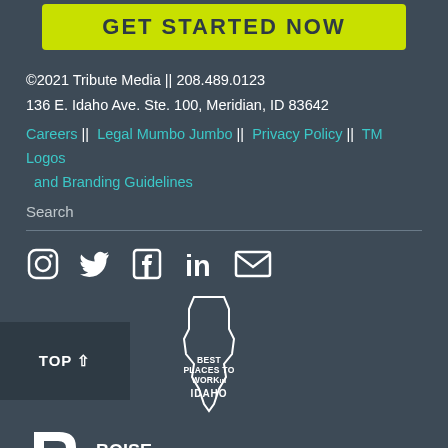[Figure (other): GET STARTED NOW button with yellow-green background]
©2021 Tribute Media || 208.489.0123
136 E. Idaho Ave. Ste. 100, Meridian, ID 83642
Careers || Legal Mumbo Jumbo || Privacy Policy || TM Logos and Branding Guidelines
Search
[Figure (other): Social media icons: Instagram, Twitter, Facebook, LinkedIn, Email]
[Figure (other): TOP arrow up button and Best Places to Work in Idaho badge]
[Figure (logo): Boise Metro Chamber logo with B icon and BOISE METRO CHAMBER text]